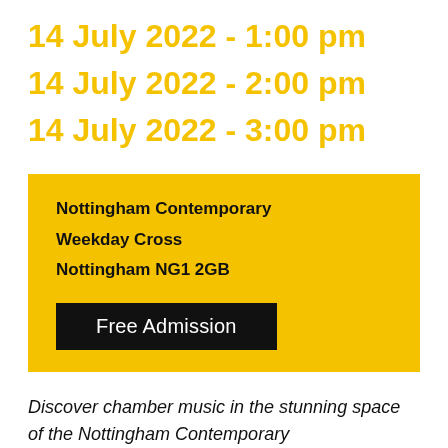14 July 2022 - 1:00 pm
14 July 2022 - 2:00 pm
14 July 2022 - 3:00 pm
Nottingham Contemporary
Weekday Cross
Nottingham NG1 2GB
Free Admission
Discover chamber music in the stunning space of the Nottingham Contemporary and the set by the Tállinn ma Ensemble